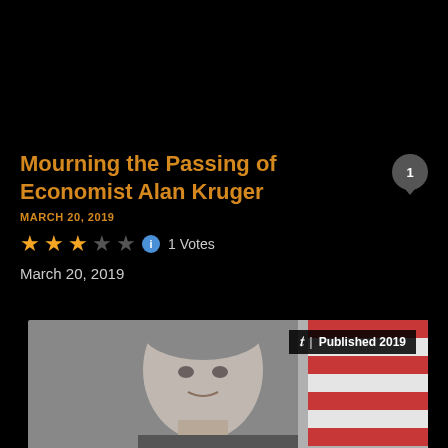Mourning the Passing of Economist Alan Kruger
MARCH 20, 2019
★★★☆☆  1 Votes
March 20, 2019
[Figure (photo): Photo of Alan Kruger with an American flag in the background, overlaid with NYT logo and 'Published 2019' badge]